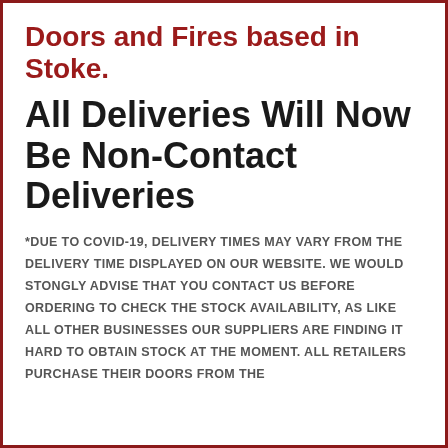Doors and Fires based in Stoke.
All Deliveries Will Now Be Non-Contact Deliveries
*DUE TO COVID-19, DELIVERY TIMES MAY VARY FROM THE DELIVERY TIME DISPLAYED ON OUR WEBSITE. WE WOULD STONGLY ADVISE THAT YOU CONTACT US BEFORE ORDERING TO CHECK THE STOCK AVAILABILITY, AS LIKE ALL OTHER BUSINESSES OUR SUPPLIERS ARE FINDING IT HARD TO OBTAIN STOCK AT THE MOMENT. ALL RETAILERS PURCHASE THEIR DOORS FROM THE